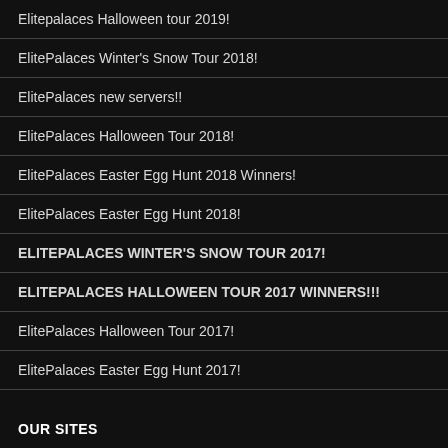Elitepalaces Halloween tour 2019!
ElitePalaces Winter's Snow Tour 2018!
ElitePalaces new servers!!
ElitePalaces Halloween Tour 2018!
ElitePalaces Easter Egg Hunt 2018 Winners!
ElitePalaces Easter Egg Hunt 2018!
ELITEPALACES WINTER'S SNOW TOUR 2017!
ELITEPALACES HALLOWEEN TOUR 2017 WINNERS!!!
ElitePalaces Halloween Tour 2017!
ElitePalaces Easter Egg Hunt 2017!
OUR SITES